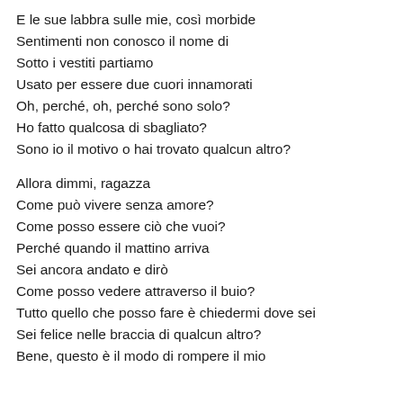E le sue labbra sulle mie, così morbide
Sentimenti non conosco il nome di
Sotto i vestiti partiamo
Usato per essere due cuori innamorati
Oh, perché, oh, perché sono solo?
Ho fatto qualcosa di sbagliato?
Sono io il motivo o hai trovato qualcun altro?

Allora dimmi, ragazza
Come può vivere senza amore?
Come posso essere ciò che vuoi?
Perché quando il mattino arriva
Sei ancora andato e dirò
Come posso vedere attraverso il buio?
Tutto quello che posso fare è chiedermi dove sei
Sei felice nelle braccia di qualcun altro?
Bene, questo è il modo di rompere il mio